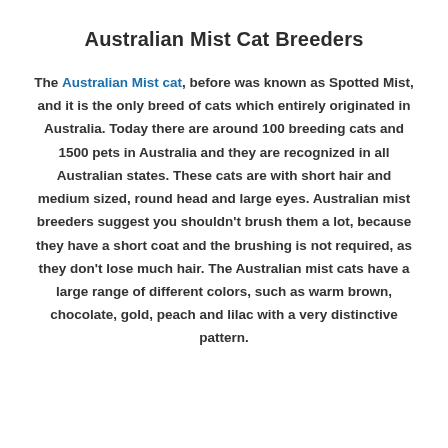Australian Mist Cat Breeders
The Australian Mist cat, before was known as Spotted Mist, and it is the only breed of cats which entirely originated in Australia. Today there are around 100 breeding cats and 1500 pets in Australia and they are recognized in all Australian states. These cats are with short hair and medium sized, round head and large eyes. Australian mist breeders suggest you shouldn't brush them a lot, because they have a short coat and the brushing is not required, as they don't lose much hair. The Australian mist cats have a large range of different colors, such as warm brown, chocolate, gold, peach and lilac with a very distinctive pattern.